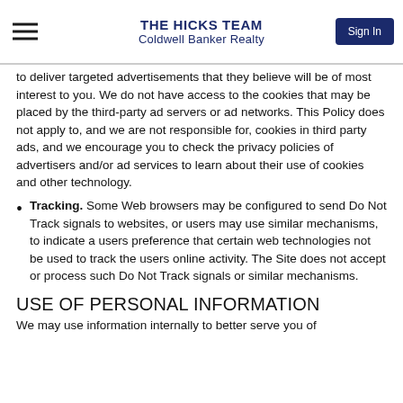THE HICKS TEAM
Coldwell Banker Realty
to deliver targeted advertisements that they believe will be of most interest to you. We do not have access to the cookies that may be placed by the third-party ad servers or ad networks. This Policy does not apply to, and we are not responsible for, cookies in third party ads, and we encourage you to check the privacy policies of advertisers and/or ad services to learn about their use of cookies and other technology.
Tracking. Some Web browsers may be configured to send Do Not Track signals to websites, or users may use similar mechanisms, to indicate a users preference that certain web technologies not be used to track the users online activity. The Site does not accept or process such Do Not Track signals or similar mechanisms.
USE OF PERSONAL INFORMATION
We may use information internally to better serve you of